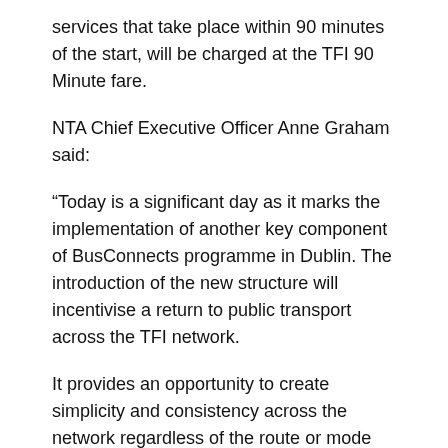services that take place within 90 minutes of the start, will be charged at the TFI 90 Minute fare.
NTA Chief Executive Officer Anne Graham said:
“Today is a significant day as it marks the implementation of another key component of BusConnects programme in Dublin. The introduction of the new structure will incentivise a return to public transport across the TFI network.
It provides an opportunity to create simplicity and consistency across the network regardless of the route or mode taken. It also means a significant saving for people who need to transfer between services.”
Minister for Transport Eamon Ryan said: